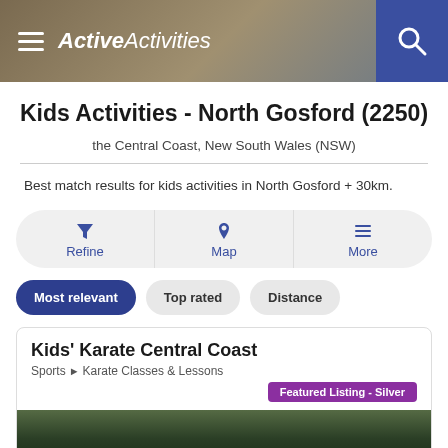ActiveActivities
Kids Activities - North Gosford (2250)
the Central Coast, New South Wales (NSW)
Best match results for kids activities in North Gosford + 30km.
Refine
Map
More
Most relevant
Top rated
Distance
Kids' Karate Central Coast
Sports > Karate Classes & Lessons
Featured Listing - Silver